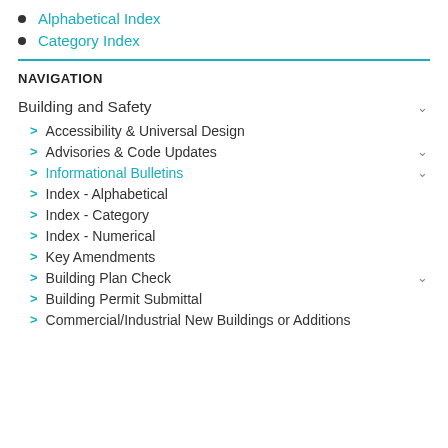Alphabetical Index
Category Index
NAVIGATION
Building and Safety
Accessibility & Universal Design
Advisories & Code Updates
Informational Bulletins
Index - Alphabetical
Index - Category
Index - Numerical
Key Amendments
Building Plan Check
Building Permit Submittal
Commercial/Industrial New Buildings or Additions